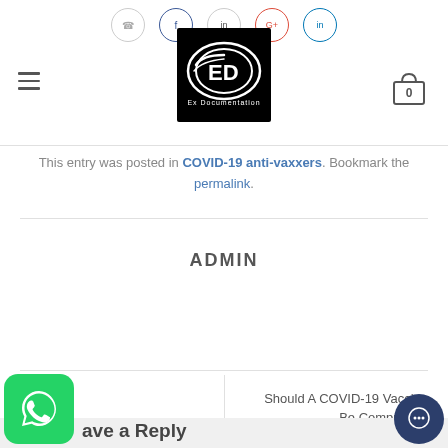Ex Documentation – navigation header with logo and cart icon
This entry was posted in COVID-19 anti-vaxxers. Bookmark the permalink.
ADMIN
Should A COVID-19 Vaccine Be Compulsory
Leave a Reply